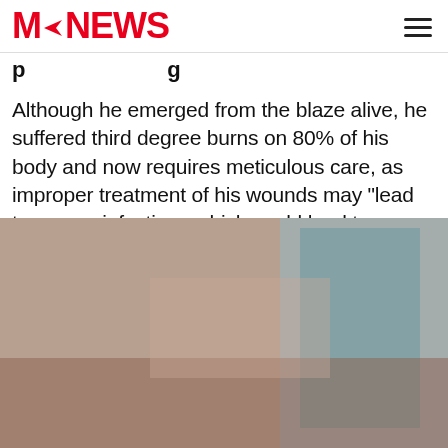M→NEWS
p...g
Although he emerged from the blaze alive, he suffered third degree burns on 80% of his body and now requires meticulous care, as improper treatment of his wounds may "lead to severe infections which could lead to complications or death."
[Figure (photo): Photo of a burn victim patient in a hospital bed, with a winking/grimacing emoji overlaid to obscure the face. The patient appears to have severe burns and is on medical equipment with teal/blue hospital materials visible.]